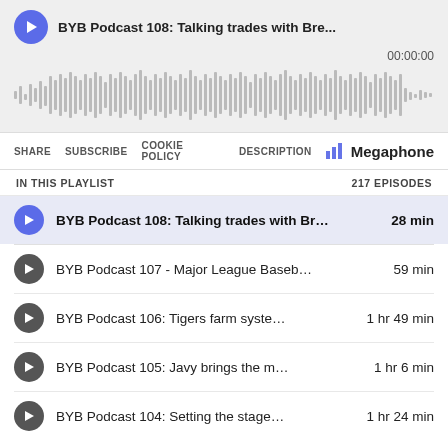BYB Podcast 108: Talking trades with Bre...
00:00:00
[Figure (other): Audio waveform visualization showing podcast audio bars in gray]
SHARE  SUBSCRIBE  COOKIE POLICY  DESCRIPTION  Megaphone
IN THIS PLAYLIST  217 EPISODES
BYB Podcast 108: Talking trades with Br... 28 min
BYB Podcast 107 - Major League Baseb... 59 min
BYB Podcast 106: Tigers farm syste...1 hr 49 min
BYB Podcast 105: Javy brings the m... 1 hr 6 min
BYB Podcast 104: Setting the stage... 1 hr 24 min